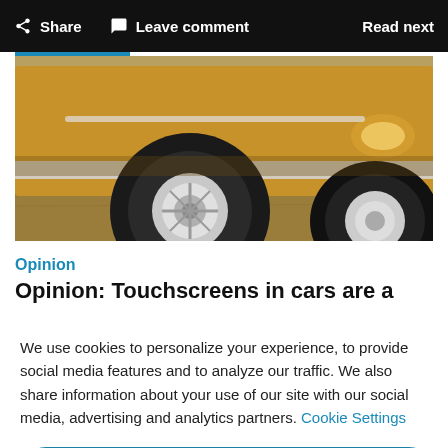Share  Leave comment  Read next
[Figure (photo): Close-up of a classic golden/amber colored vintage car front wheel and bumper, parked on dried grass.]
Opinion
Opinion: Touchscreens in cars are a
We use cookies to personalize your experience, to provide social media features and to analyze our traffic. We also share information about your use of our site with our social media, advertising and analytics partners. Cookie Settings
Accept all cookies